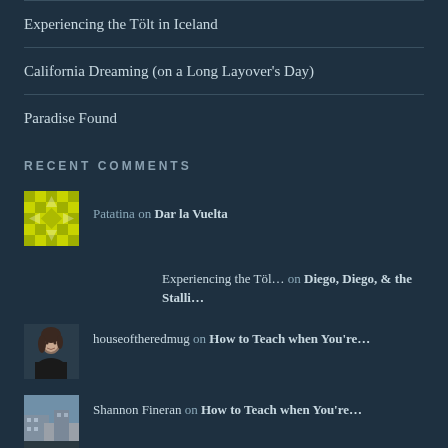Experiencing the Tölt in Iceland
California Dreaming (on a Long Layover's Day)
Paradise Found
RECENT COMMENTS
Patatina on Dar la Vuelta
Experiencing the Töl… on Diego, Diego, & the Stalli…
houseoftheredmug on How to Teach when You're…
Shannon Fineran on How to Teach when You're…